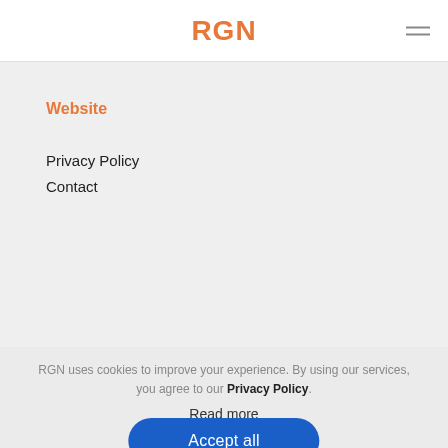RGN
Website
Privacy Policy
Contact
RGN uses cookies to improve your experience. By using our services, you agree to our Privacy Policy.
Read more
Accept all